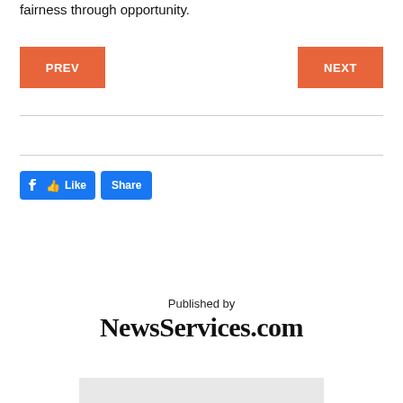fairness through opportunity.
[Figure (other): Navigation buttons: PREV (orange) on the left and NEXT (orange) on the right]
[Figure (other): Facebook Like and Share social media buttons]
Published by
NewsServices.com
[Figure (other): Partial image at the bottom of the page, gray background]